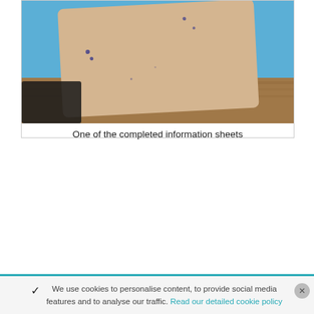[Figure (photo): A photo of a beige/tan information sheet (cardboard) with small blue ink dots on it, held or placed on a blue and wooden surface. A black shoe is partially visible at the bottom left.]
One of the completed information sheets
We use cookies to personalise content, to provide social media features and to analyse our traffic. Read our detailed cookie policy